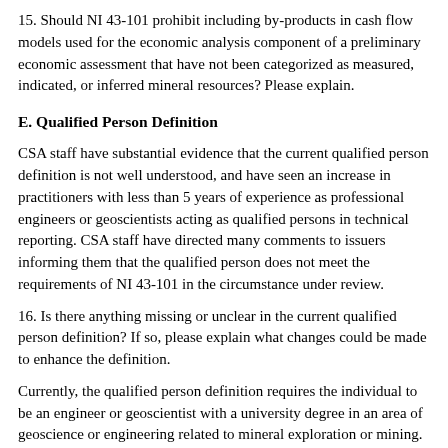15. Should NI 43-101 prohibit including by-products in cash flow models used for the economic analysis component of a preliminary economic assessment that have not been categorized as measured, indicated, or inferred mineral resources? Please explain.
E. Qualified Person Definition
CSA staff have substantial evidence that the current qualified person definition is not well understood, and have seen an increase in practitioners with less than 5 years of experience as professional engineers or geoscientists acting as qualified persons in technical reporting. CSA staff have directed many comments to issuers informing them that the qualified person does not meet the requirements of NI 43-101 in the circumstance under review.
16. Is there anything missing or unclear in the current qualified person definition? If so, please explain what changes could be made to enhance the definition.
Currently, the qualified person definition requires the individual to be an engineer or geoscientist with a university degree in an area of geoscience or engineering related to mineral exploration or mining.
17. Should paragraph (a) of the qualified person definition be broadened beyond engineers and geoscientists to include other professional disciplines? If so, what disciplines should be included.